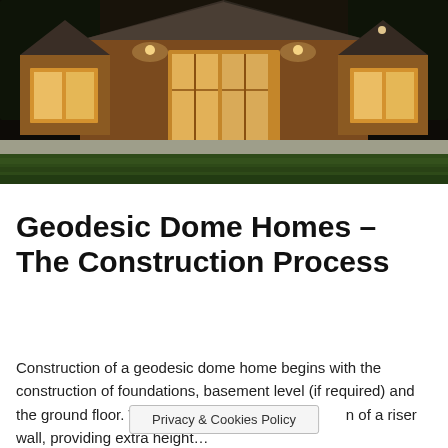[Figure (photo): Exterior night photograph of a geodesic dome home with warm wooden siding, large glass doors illuminated from inside, and a triangular/A-frame roof profile, with a green lawn in the foreground.]
Geodesic Dome Homes – The Construction Process
Construction of a geodesic dome home begins with the construction of foundations, basement level (if required) and the ground floor. This is often fo[…]n of a riser wall, providing extra height…
Privacy & Cookies Policy